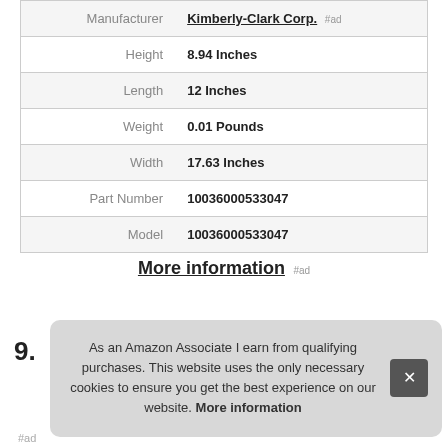| Attribute | Value |
| --- | --- |
| Manufacturer | Kimberly-Clark Corp. #ad |
| Height | 8.94 Inches |
| Length | 12 Inches |
| Weight | 0.01 Pounds |
| Width | 17.63 Inches |
| Part Number | 10036000533047 |
| Model | 10036000533047 |
More information #ad
As an Amazon Associate I earn from qualifying purchases. This website uses the only necessary cookies to ensure you get the best experience on our website. More information
#ad